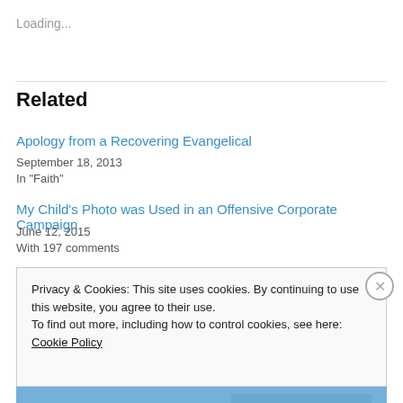Loading...
Related
Apology from a Recovering Evangelical
September 18, 2013
In "Faith"
My Child's Photo was Used in an Offensive Corporate Campaign
June 12, 2015
With 197 comments
Privacy & Cookies: This site uses cookies. By continuing to use this website, you agree to their use.
To find out more, including how to control cookies, see here: Cookie Policy
Close and accept